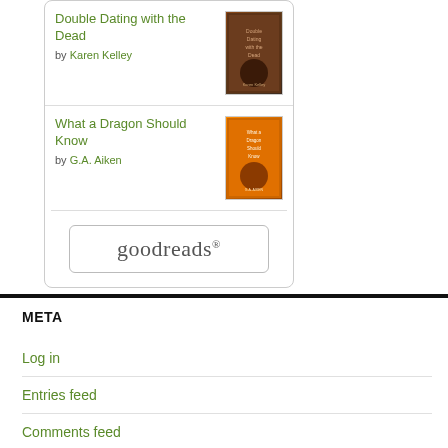[Figure (other): Book listing widget with two books and goodreads button. Book 1: 'Double Dating with the Dead' by Karen Kelley with cover image. Book 2: 'What a Dragon Should Know' by G.A. Aiken with cover image. Goodreads button at bottom of widget.]
META
Log in
Entries feed
Comments feed